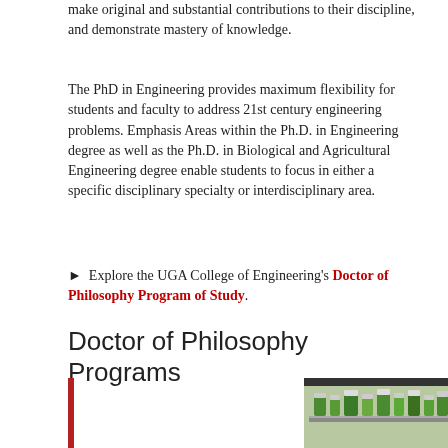make original and substantial contributions to their discipline, and demonstrate mastery of knowledge.
The PhD in Engineering provides maximum flexibility for students and faculty to address 21st century engineering problems. Emphasis Areas within the Ph.D. in Engineering degree as well as the Ph.D. in Biological and Agricultural Engineering degree enable students to focus in either a specific disciplinary specialty or interdisciplinary area.
▶ Explore the UGA College of Engineering's Doctor of Philosophy Program of Study.
Doctor of Philosophy Programs
[Figure (photo): Laboratory photo showing flasks with green liquid on a shaker/orbital platform, with a red vertical bar accent on the left side]